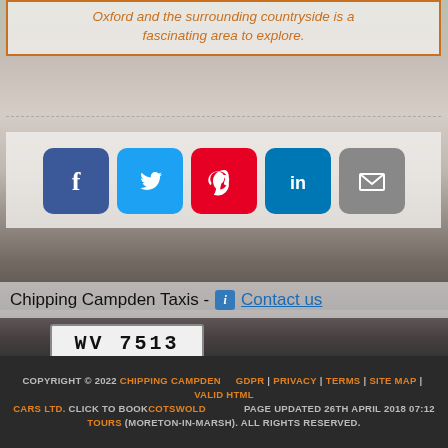Oxford and the surrounding countryside is a fascinating area to explore.
[Figure (photo): Background photo of a vintage car, with car grille and license plate WV 7513 visible]
[Figure (infographic): Social sharing icons row: Facebook, Twitter, Pinterest, LinkedIn, Email]
Chipping Campden Taxis - Contact us
COPYRIGHT © 2022 CHIPPING CAMPDEN CARS LTD. CLICK TO BOOK COTSWOLD TOURS (MORETON-IN-MARSH). ALL RIGHTS RESERVED. | GDPR | PRIVACY | TERMS | SITE MAP | VALID HTML | PAGE UPDATED 26TH APRIL 2018 07:12